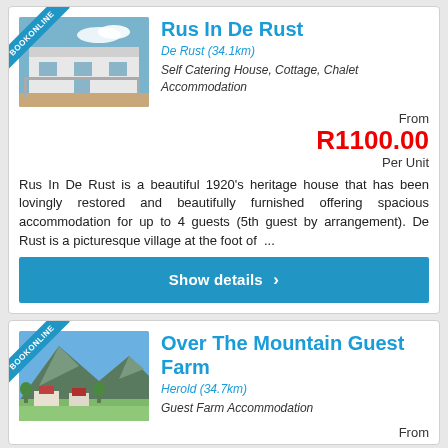[Figure (photo): Photo of Rus In De Rust accommodation - white heritage house with blue sky]
Rus In De Rust
De Rust (34.1km)
Self Catering House, Cottage, Chalet Accommodation
From R1100.00 Per Unit
Rus In De Rust is a beautiful 1920's heritage house that has been lovingly restored and beautifully furnished offering spacious accommodation for up to 4 guests (5th guest by arrangement). De Rust is a picturesque village at the foot of ...
Show details >
[Figure (photo): Photo of Over The Mountain Guest Farm - mountain scenery with green fields]
Over The Mountain Guest Farm
Herold (34.7km)
Guest Farm Accommodation
From